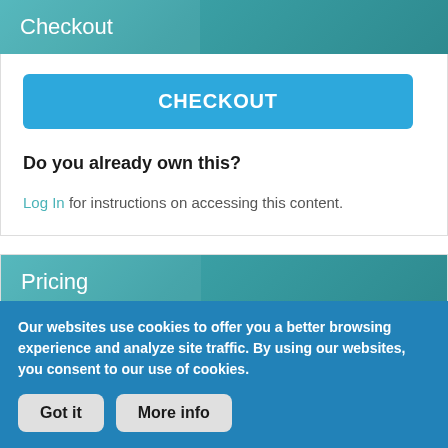Checkout
[Figure (screenshot): Blue CHECKOUT button]
Do you already own this?
Log In for instructions on accessing this content.
Pricing
Our websites use cookies to offer you a better browsing experience and analyze site traffic. By using our websites, you consent to our use of cookies.
Got it   More info